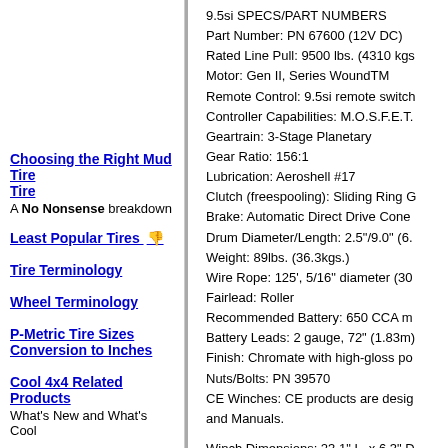Choosing the Right Mud Tire — A No Nonsense breakdown
Least Popular Tires
Tire Terminology
Wheel Terminology
P-Metric Tire Sizes Conversion to Inches
Cool 4x4 Related Products — What's New and What's Cool
9.5si SPECS/PART NUMBERS
Part Number: PN 67600 (12V DC)
Rated Line Pull: 9500 lbs. (4310 kgs
Motor: Gen II, Series WoundTM
Remote Control: 9.5si remote switch
Controller Capabilities: M.O.S.F.E.T.
Geartrain: 3-Stage Planetary
Gear Ratio: 156:1
Lubrication: Aeroshell #17
Clutch (freespooling): Sliding Ring G
Brake: Automatic Direct Drive Cone
Drum Diameter/Length: 2.5"/9.0" (6.
Weight: 89lbs. (36.3kgs.)
Wire Rope: 125', 5/16" diameter (30
Fairlead: Roller
Recommended Battery: 650 CCA m
Battery Leads: 2 gauge, 72" (1.83m)
Finish: Chromate with high-gloss po
Nuts/Bolts: PN 39570
CE Winches: CE products are desig and Manuals.
Winch Dimensions: 23.1" L. x 6.3" D (587mm L. x 160mm D. x 254mm H
Mounting Bolt Pattern: 10.0" x 4.5" (
Keywords: Warn Winch